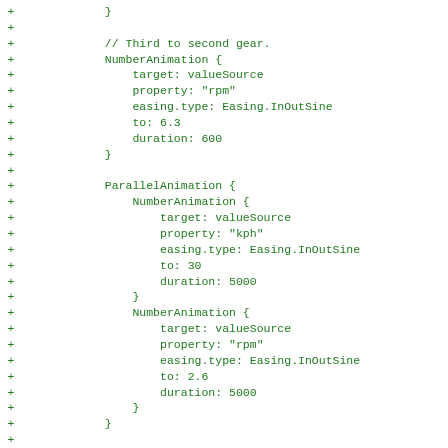Diff/code block showing QML animation code additions with + markers, including NumberAnimation and ParallelAnimation blocks for gear transition animations.